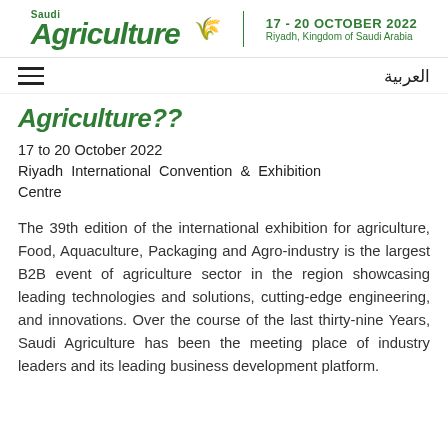[Figure (logo): Saudi Agriculture logo with wheat icon, beside '17 - 20 OCTOBER 2022 Riyadh, Kingdom of Saudi Arabia']
العربية  ≡
Agriculture??
17 to 20 October 2022
Riyadh International Convention & Exhibition Centre
The 39th edition of the international exhibition for agriculture, Food, Aquaculture, Packaging and Agro-industry is the largest B2B event of agriculture sector in the region showcasing leading technologies and solutions, cutting-edge engineering, and innovations. Over the course of the last thirty-nine Years, Saudi Agriculture has been the meeting place of industry leaders and its leading business development platform.